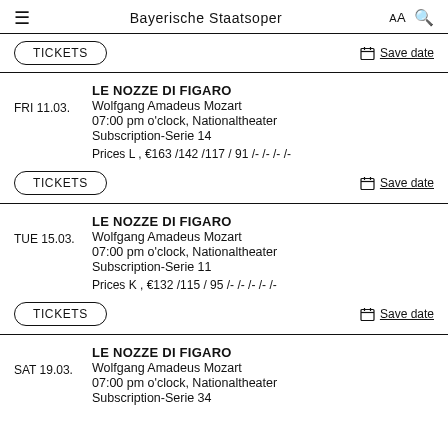Bayerische Staatsoper
TICKETS | Save date
FRI 11.03. | LE NOZZE DI FIGARO | Wolfgang Amadeus Mozart | 07:00 pm o'clock, Nationaltheater | Subscription-Serie 14 | Prices L, €163/142/117/91/-/-/-/- | TICKETS | Save date
TUE 15.03. | LE NOZZE DI FIGARO | Wolfgang Amadeus Mozart | 07:00 pm o'clock, Nationaltheater | Subscription-Serie 11 | Prices K, €132/115/95/-/-/-/-/- | TICKETS | Save date
SAT 19.03. | LE NOZZE DI FIGARO | Wolfgang Amadeus Mozart | 07:00 pm o'clock, Nationaltheater | Subscription-Serie 34